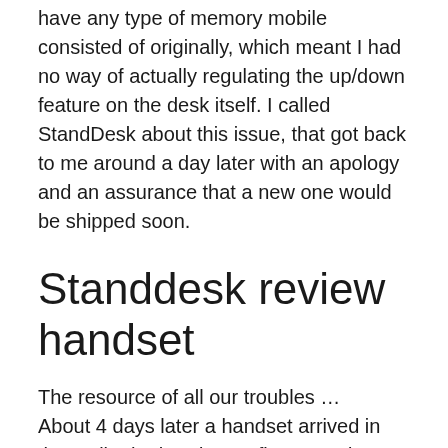have any type of memory mobile consisted of originally, which meant I had no way of actually regulating the up/down feature on the desk itself. I called StandDesk about this issue, that got back to me around a day later with an apology and an assurance that a new one would be shipped soon.
Standdesk review handset
The resource of all our troubles … About 4 days later a handset arrived in the mail. The handset at first turned on, however it had not been long prior to I noticed that none of the programmable switches worked, neither did the down button, however, for some reason the “memory” button managed the down feature just fine. I spoke to the firm